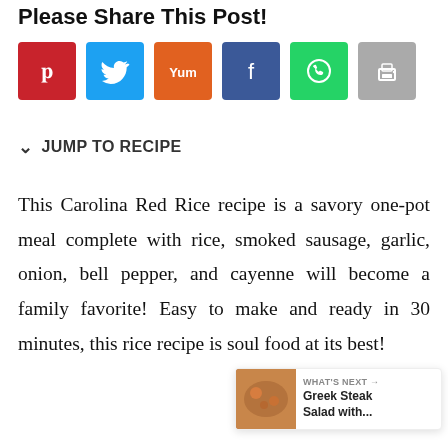Please Share This Post!
[Figure (infographic): Social sharing buttons: Pinterest (red), Twitter (blue), Yummly (orange), Facebook (dark blue), WhatsApp (green), Print (gray)]
JUMP TO RECIPE
This Carolina Red Rice recipe is a savory one-pot meal complete with rice, smoked sausage, garlic, onion, bell pepper, and cayenne will become a family favorite! Easy to make and ready in 30 minutes, this rice recipe is soul food at its best!